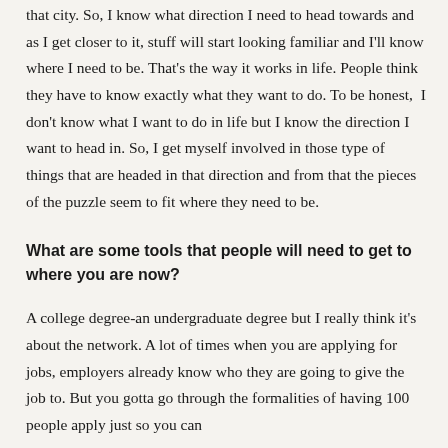that city. So, I know what direction I need to head towards and as I get closer to it, stuff will start looking familiar and I'll know where I need to be. That's the way it works in life. People think they have to know exactly what they want to do. To be honest,  I don't know what I want to do in life but I know the direction I want to head in. So, I get myself involved in those type of things that are headed in that direction and from that the pieces of the puzzle seem to fit where they need to be.
What are some tools that people will need to get to where you are now?
A college degree-an undergraduate degree but I really think it's about the network. A lot of times when you are applying for jobs, employers already know who they are going to give the job to. But you gotta go through the formalities of having 100 people apply just so you can